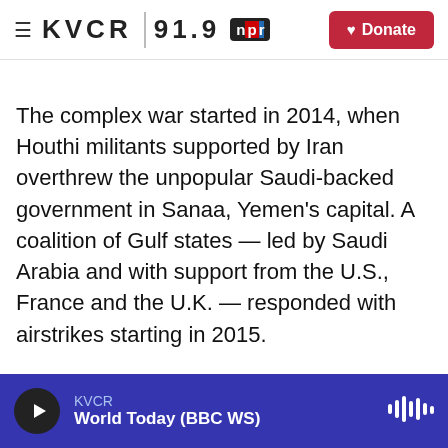≡ KVCR 91.9 [npr] Donate
The complex war started in 2014, when Houthi militants supported by Iran overthrew the unpopular Saudi-backed government in Sanaa, Yemen's capital. A coalition of Gulf states — led by Saudi Arabia and with support from the U.S., France and the U.K. — responded with airstrikes starting in 2015.
More than 233,000 people have died since then, in what the United Nations calls the world's worst humanitarian crisis. Large swathes of the population — upwards of 80% — face starvation.
KVCR · World Today (BBC WS)